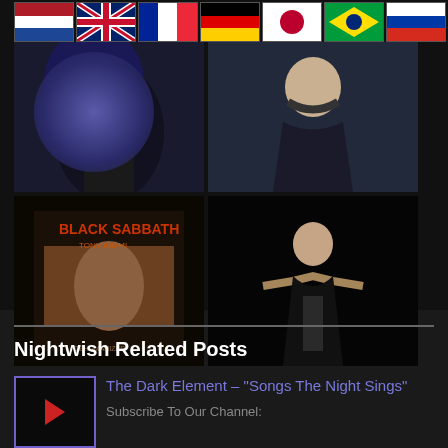[Figure (screenshot): Row of country flags: Netherlands, UK, France, Germany, Japan, Brazil, Russia, and Spain (second row partial)]
[Figure (photo): Blue-haired woman in black outfit]
[Figure (photo): Blonde female metal artist in leather harness against dark background]
[Figure (photo): Black Sabbath Tony Iommi album cover]
[Figure (photo): Female performer in black outfit with arms outstretched on dark stage]
Nightwish Related Posts
[Figure (screenshot): Thumbnail with purple border and red play icon for The Dark Element video]
The Dark Element – "Songs The Night Sings"
Subscribe To Our Channel: